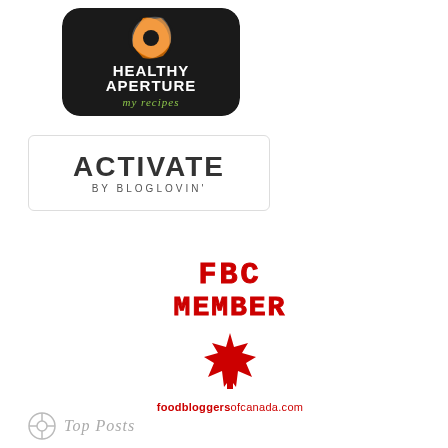[Figure (logo): Healthy Aperture 'my recipes' badge — dark/black rounded rectangle with orange camera aperture icon and white text 'HEALTHY APERTURE' and green italic text 'my recipes']
[Figure (logo): ACTIVATE BY BLOGLOVIN' — white box with thin border, large dark bold text 'ACTIVATE' and smaller spaced text 'BY BLOGLOVIN']
[Figure (logo): FBC MEMBER badge — red college-style font text 'FBC MEMBER' with red maple leaf icon and URL 'foodbloggersofcanada.com']
Top Posts